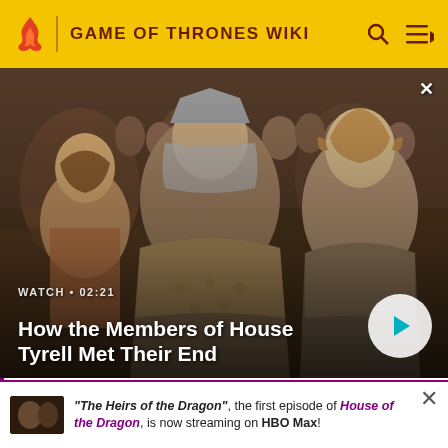GAME OF THRONES WIKI
[Figure (screenshot): Video thumbnail showing characters from Game of Thrones (House Tyrell members) in medieval costume, with overlay text 'WATCH • 02:21' and title 'How the Members of House Tyrell Met Their End', with a play button.]
Garth Tyrell, Lord Mace's uncle. Called 'Garth the Gross'. Lord Seneschal of Highgarden.
"The Heirs of the Dragon", the first episode of House of the Dragon, is now streaming on HBO Max!